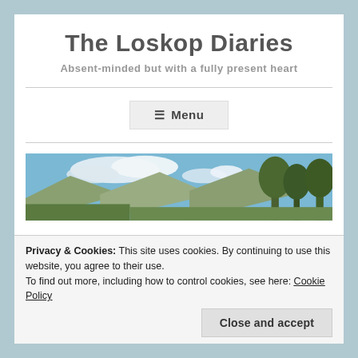The Loskop Diaries
Absent-minded but with a fully present heart
≡ Menu
[Figure (photo): Panoramic outdoor landscape photo showing mountains, blue sky with clouds, and trees]
Privacy & Cookies: This site uses cookies. By continuing to use this website, you agree to their use.
To find out more, including how to control cookies, see here: Cookie Policy
Close and accept
MARCH 28, 2018  ~  MAROBBIE